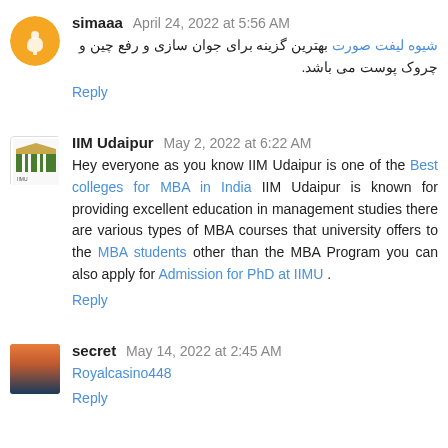simaaa  April 24, 2022 at 5:56 AM
شیوه لیفت صورت بهترین گزینه برای جوان سازی و رفع چین و چروک پوست می باشد.
Reply
IIM Udaipur  May 2, 2022 at 6:22 AM
Hey everyone as you know IIM Udaipur is one of the Best colleges for MBA in India IIM Udaipur is known for providing excellent education in management studies there are various types of MBA courses that university offers to the MBA students other than the MBA Program you can also apply for Admission for PhD at IIMU .
Reply
secret  May 14, 2022 at 2:45 AM
Royalcasino448
Reply